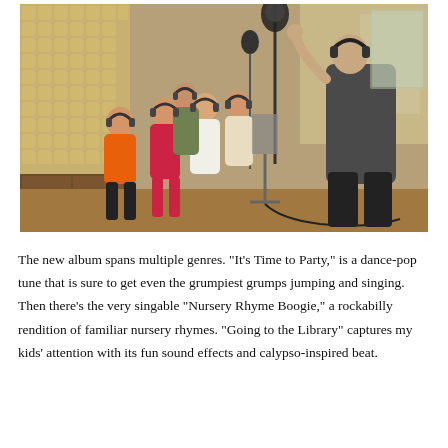[Figure (photo): Children wearing headphones singing in a recording studio with a conductor/director facing them; acoustic foam panels visible on the left wall, microphone stands and equipment throughout.]
The new album spans multiple genres. "It's Time to Party," is a dance-pop tune that is sure to get even the grumpiest grumps jumping and singing. Then there's the very singable "Nursery Rhyme Boogie," a rockabilly rendition of familiar nursery rhymes. "Going to the Library" captures my kids' attention with its fun sound effects and calypso-inspired beat.